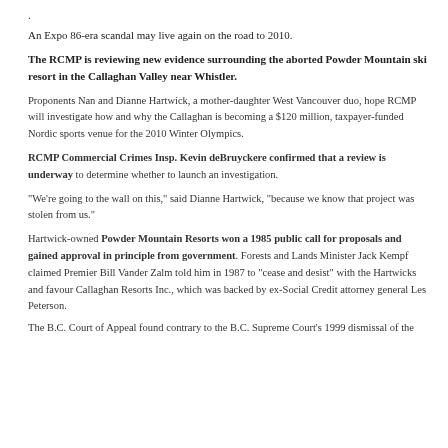.
An Expo 86-era scandal may live again on the road to 2010.
The RCMP is reviewing new evidence surrounding the aborted Powder Mountain ski resort in the Callaghan Valley near Whistler.
Proponents Nan and Dianne Hartwick, a mother-daughter West Vancouver duo, hope RCMP will investigate how and why the Callaghan is becoming a $120 million, taxpayer-funded Nordic sports venue for the 2010 Winter Olympics.
RCMP Commercial Crimes Insp. Kevin deBruyckere confirmed that a review is underway to determine whether to launch an investigation.
"We're going to the wall on this," said Dianne Hartwick, "because we know that project was stolen from us."
Hartwick-owned Powder Mountain Resorts won a 1985 public call for proposals and gained approval in principle from government. Forests and Lands Minister Jack Kempf claimed Premier Bill Vander Zalm told him in 1987 to "cease and desist" with the Hartwicks and favour Callaghan Resorts Inc., which was backed by ex-Social Credit attorney general Les Peterson.
The B.C. Court of Appeal found contrary to the B.C. Supreme Court's 1999 dismissal of the...